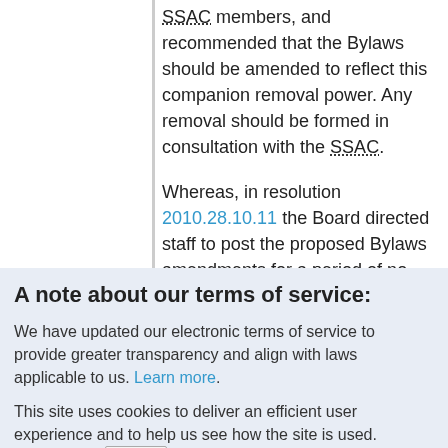SSAC members, and recommended that the Bylaws should be amended to reflect this companion removal power. Any removal should be formed in consultation with the SSAC.
Whereas, in resolution 2010.28.10.11 the Board directed staff to post the proposed Bylaws amendments for a period of no less than 30 days.
A note about our terms of service:
We have updated our electronic terms of service to provide greater transparency and align with laws applicable to us. Learn more.
This site uses cookies to deliver an efficient user experience and to help us see how the site is used. Learn more.